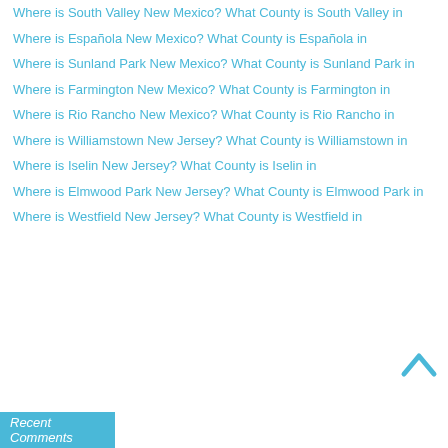Where is South Valley New Mexico? What County is South Valley in
Where is Española New Mexico? What County is Española in
Where is Sunland Park New Mexico? What County is Sunland Park in
Where is Farmington New Mexico? What County is Farmington in
Where is Rio Rancho New Mexico? What County is Rio Rancho in
Where is Williamstown New Jersey? What County is Williamstown in
Where is Iselin New Jersey? What County is Iselin in
Where is Elmwood Park New Jersey? What County is Elmwood Park in
Where is Westfield New Jersey? What County is Westfield in
Recent Comments